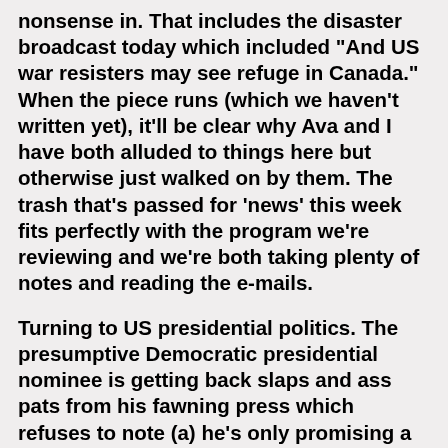nonsense in. That includes the disaster broadcast today which included "And US war resisters may see refuge in Canada." When the piece runs (which we haven't written yet), it'll be clear why Ava and I have both alluded to things here but otherwise just walked on by them. The trash that's passed for 'news' this week fits perfectly with the program we're reviewing and we're both taking plenty of notes and reading the e-mails.
Turning to US presidential politics. The presumptive Democratic presidential nominee is getting back slaps and ass pats from his fawning press which refuses to note (a) he's only promising a partial-withdrawal, (b) his 'promises' are meaningless and (c) this is a reversal of his earlier statements that the US would leave (combat troops only) Iraq in 10 months. Remember that? He declared it in Houston Texas. One single sentence. Had Tom-Tom Hayden so excited he stretched that one-liner in a "Gosh, Wally . . ." column. Speaking of Jerry Mathers, Little Andy Malcolm (Los Angeles Times) blogged this morning, "A funny thing happened over on the Barack Obama campaign website in the last few